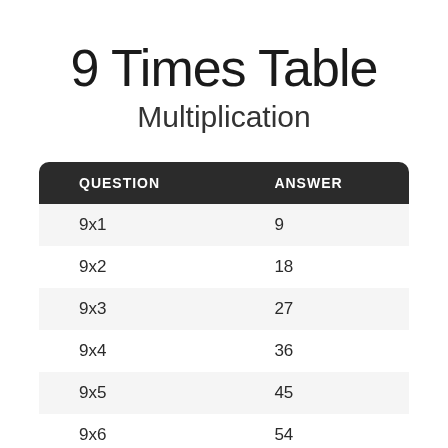9 Times Table
Multiplication
| QUESTION | ANSWER |
| --- | --- |
| 9x1 | 9 |
| 9x2 | 18 |
| 9x3 | 27 |
| 9x4 | 36 |
| 9x5 | 45 |
| 9x6 | 54 |
| 9x7 | 63 |